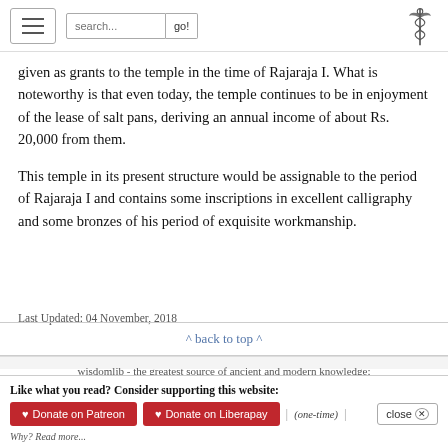search... go!
given as grants to the temple in the time of Rajaraja I. What is noteworthy is that even today, the temple continues to be in enjoyment of the lease of salt pans, deriving an annual income of about Rs. 20,000 from them.
This temple in its present structure would be assignable to the period of Rajaraja I and contains some inscriptions in excellent calligraphy and some bronzes of his period of exquisite workmanship.
Last Updated: 04 November, 2018
^ back to top ^
wisdomlib - the greatest source of ancient and modern knowledge;
Like what you read? Consider supporting this website:
♥ Donate on Patreon  ♥ Donate on Liberapay  | (one-time) |  close ⊗
Why? Read more...